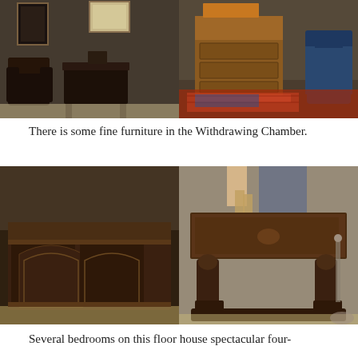[Figure (photo): Two side-by-side photos of antique furniture in the Withdrawing Chamber: left photo shows a dark wooden armchair and a console table against a tapestry wall with framed pictures; right photo shows an ornate chest of drawers with a cabinet on top, a blue upholstered chair, and a patterned rug]
There is some fine furniture in the Withdrawing Chamber.
[Figure (photo): Two side-by-side photos of antique furniture: left photo shows a large ornately carved dark wood chest/coffer with arched architectural relief carvings; right photo shows a heavy dark wood table with carved figural supports/legs, with visitors visible in the background]
Several bedrooms on this floor house spectacular four-